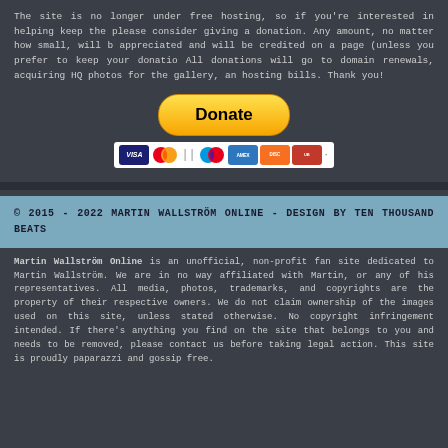The site is no longer under free hosting, so if you're interested in helping keep the please consider giving a donation. Any amount, no matter how small, will b appreciated and will be credited on a page (unless you prefer to keep your donatio All donations will go to domain renewals, acquiring HQ photos for the gallery, an hosting bills. Thank you!
[Figure (other): PayPal Donate button with payment card icons (Visa, Mastercard, Maestro, American Express, Discover, UnionPay)]
© 2015 - 2022 MARTIN WALLSTRÖM ONLINE - DESIGN BY TEN THOUSAND BEATS
Martin Wallström Online is an unofficial, non-profit fan site dedicated to Martin Wallström. We are in no way affiliated with Martin, or any of his representatives. All media, photos, trademarks, and copyrights are the property of their respective owners. We do not claim ownership of the images used on this site, unless stated otherwise. No copyright infringement intended. If there's anything you find on the site that belongs to you and needs to be removed, please contact us before taking legal action. This site is proudly paparazzi and gossip free.